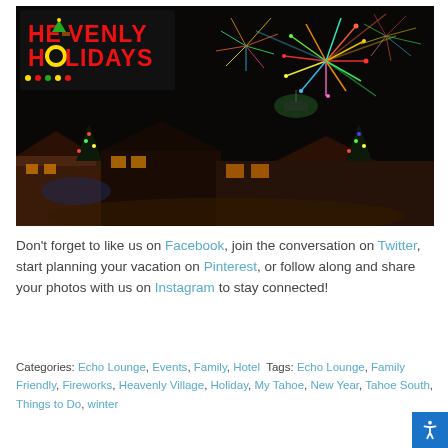[Figure (photo): Night fireworks photo over a village scene with 'Heavenly Holidays' logo in the upper left corner. Colorful fireworks burst against a dark sky above snow-covered rooftops and illuminated buildings.]
Don't forget to like us on Facebook, join the conversation on Twitter, start planning your vacation on Pinterest, or follow along and share your photos with us on Instagram to stay connected!
Categories: Echo Lounge, Events, Family, Hotel  Tags: Echo Lounge, Family Friendly, Fireworks, Heavenly Village, Holiday, My Tahoe, New Year, Tahoe South, Things to Do, winter